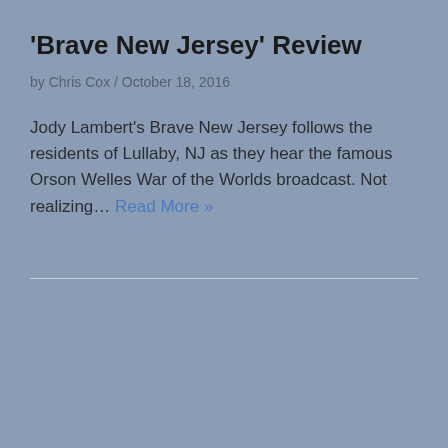'Brave New Jersey' Review
by Chris Cox / October 18, 2016
Jody Lambert's Brave New Jersey follows the residents of Lullaby, NJ as they hear the famous Orson Welles War of the Worlds broadcast. Not realizing… Read More »